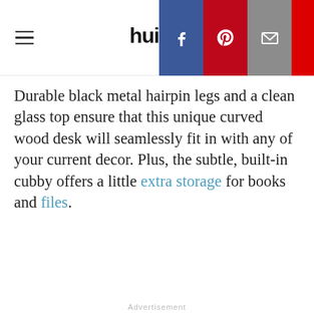hui
Durable black metal hairpin legs and a clean glass top ensure that this unique curved wood desk will seamlessly fit in with any of your current decor. Plus, the subtle, built-in cubby offers a little extra storage for books and files.
Advertisement